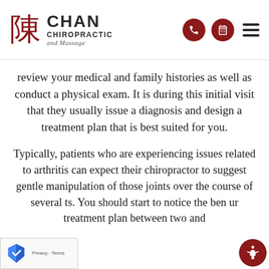[Figure (logo): Chan Chiropractic and Massage logo with Chinese character in red, navigation icons including phone and calendar circles and hamburger menu]
review your medical and family histories as well as conduct a physical exam. It is during this initial visit that they usually issue a diagnosis and design a treatment plan that is best suited for you.
Typically, patients who are experiencing issues related to arthritis can expect their chiropractor to suggest gentle manipulation of those joints over the course of several ts. You should start to notice the ben ur treatment plan between two and